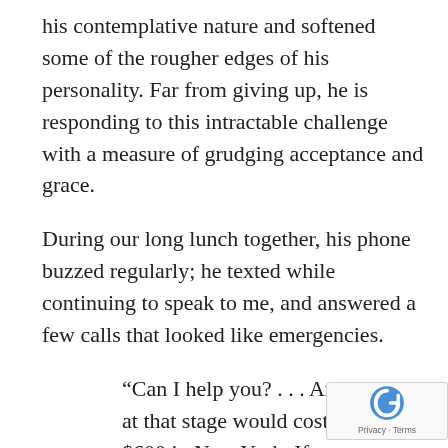his contemplative nature and softened some of the rougher edges of his personality. Far from giving up, he is responding to this intractable challenge with a measure of grudging acceptance and grace.
During our long lunch together, his phone buzzed regularly; he texted while continuing to speak to me, and answered a few calls that looked like emergencies.
“Can I help you? . . . An abortion at that stage would cost about $600 in New York. If you come into our office we can give you a free ultrasound.
Where do you live? Yes, we have a cente… Brooklyn. Would you like to make an